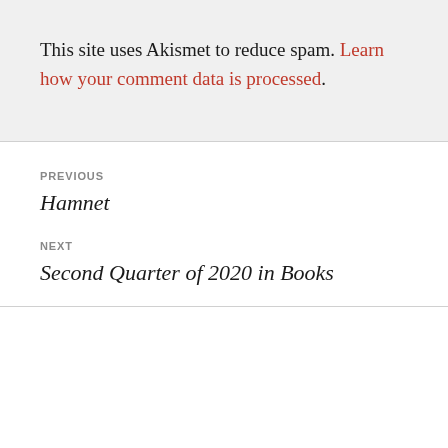This site uses Akismet to reduce spam. Learn how your comment data is processed.
PREVIOUS
Hamnet
NEXT
Second Quarter of 2020 in Books